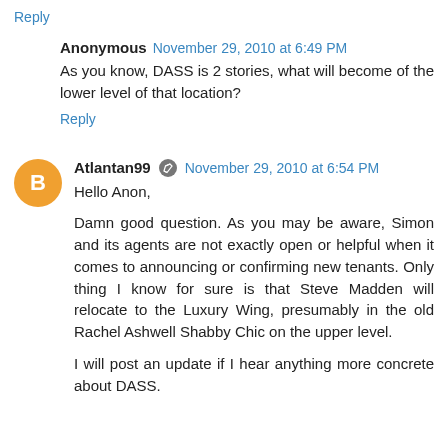Reply
Anonymous November 29, 2010 at 6:49 PM
As you know, DASS is 2 stories, what will become of the lower level of that location?
Reply
Atlantan99 November 29, 2010 at 6:54 PM
Hello Anon,
Damn good question. As you may be aware, Simon and its agents are not exactly open or helpful when it comes to announcing or confirming new tenants. Only thing I know for sure is that Steve Madden will relocate to the Luxury Wing, presumably in the old Rachel Ashwell Shabby Chic on the upper level.
I will post an update if I hear anything more concrete about DASS.